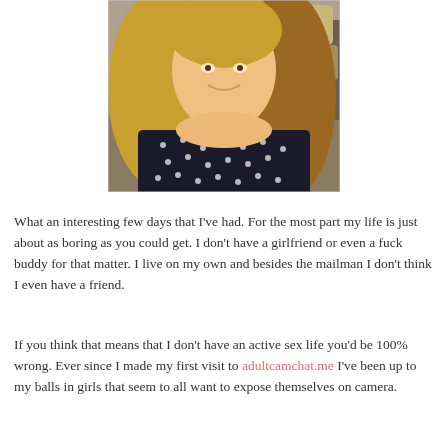[Figure (photo): Photo of a woman with long blonde/brown hair wearing a dark polka dot top, seated in front of a couch with pillows]
What an interesting few days that I've had. For the most part my life is just about as boring as you could get. I don't have a girlfriend or even a fuck buddy for that matter. I live on my own and besides the mailman I don't think I even have a friend.
If you think that means that I don't have an active sex life you'd be 100% wrong. Ever since I made my first visit to adultcamchat.me I've been up to my balls in girls that seem to all want to expose themselves on camera.